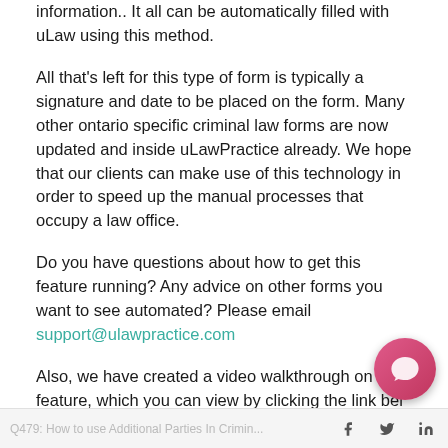information.. It all can be automatically filled with uLaw using this method.
All that’s left for this type of form is typically a signature and date to be placed on the form. Many other ontario specific criminal law forms are now updated and inside uLawPractice already. We hope that our clients can make use of this technology in order to speed up the manual processes that occupy a law office.
Do you have questions about how to get this feature running? Any advice on other forms you want to see automated? Please email support@ulawpractice.com
Also, we have created a video walkthrough on this feature, which you can view by clicking the link bel...
Q479: How to use Additional Parties In Crimin...